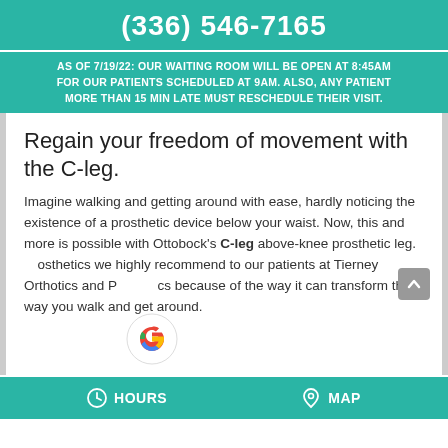(336) 546-7165
AS OF 7/19/22: OUR WAITING ROOM WILL BE OPEN AT 8:45AM FOR OUR PATIENTS SCHEDULED AT 9AM. ALSO, ANY PATIENT MORE THAN 15 MIN LATE MUST RESCHEDULE THEIR VISIT.
Regain your freedom of movement with the C-leg.
Imagine walking and getting around with ease, hardly noticing the existence of a prosthetic device below your waist. Now, this and more is possible with Ottobock's C-leg above-knee prosthetic leg. [prosthetics we highly recommend] to our patients at Tierney Orthotics and P[rostheti]cs because of the way it can transform the way you walk and get around.
HOURS   MAP